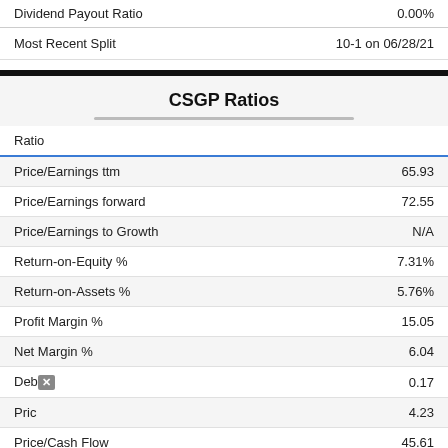|  |  |
| --- | --- |
| Dividend Payout Ratio | 0.00% |
| Most Recent Split | 10-1 on 06/28/21 |
CSGP Ratios
| Ratio |  |
| --- | --- |
| Price/Earnings ttm | 65.93 |
| Price/Earnings forward | 72.55 |
| Price/Earnings to Growth | N/A |
| Return-on-Equity % | 7.31% |
| Return-on-Assets % | 5.76% |
| Profit Margin % | 15.05 |
| Net Margin % | 6.04 |
| Debt... | 0.17 |
| Price... | 4.23 |
| Price/Cash Flow | 45.61 |